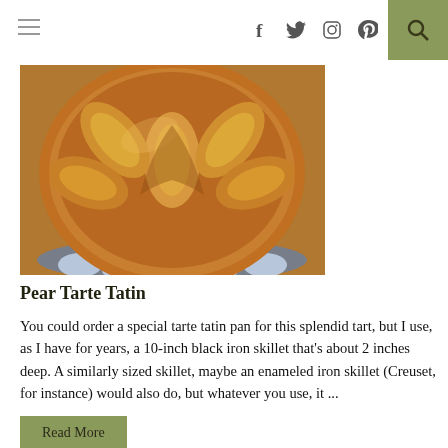≡   f  𝕏  📷  𝗽  🔍
[Figure (photo): Close-up photo of a Pear Tarte Tatin — caramelized pear slices arranged in a circular pattern on a golden-brown pastry crust, sitting on a blue and white patterned plate/surface.]
Pear Tarte Tatin
You could order a special tarte tatin pan for this splendid tart, but I use, as I have for years, a 10-inch black iron skillet that's about 2 inches deep. A similarly sized skillet, maybe an enameled iron skillet (Creuset, for instance) would also do, but whatever you use, it ...